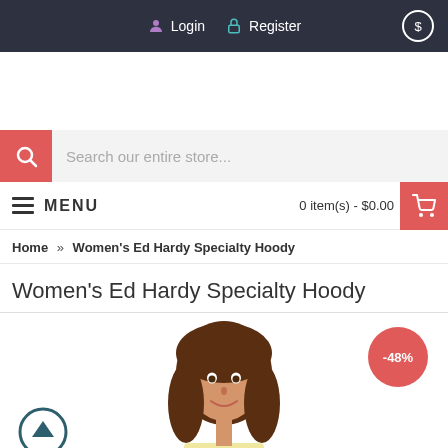Login  Register  $
Search our entire store...
MENU   0 item(s) - $0.00
Home » Women's Ed Hardy Specialty Hoody
Women's Ed Hardy Specialty Hoody
[Figure (photo): Woman with brown hair wearing a light yellow hoodie, product photo. Discount badge showing -48% in red circle top right. Scroll-up arrow button in bottom left.]